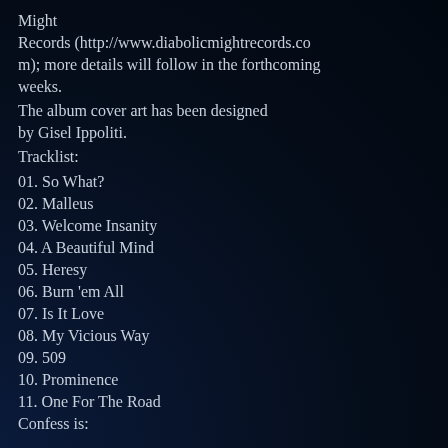Might Records (http://www.diabolicmightrecords.com); more details will follow in the forthcoming weeks.
The album cover art has been designed by Gisel Ippoliti.
Tracklist:
01. So What?
02. Malleus
03. Welcome Insanity
04. A Beautiful Mind
05. Heresy
06. Burn 'em All
07. Is It Love
08. My Vicious Way
09. 509
10. Prominence
11. One For The Road
Confess is: